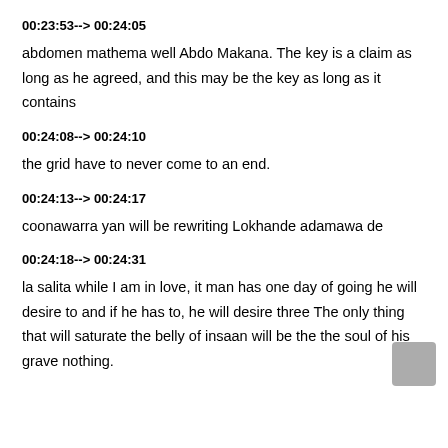00:23:53--> 00:24:05
abdomen mathema well Abdo Makana. The key is a claim as long as he agreed, and this may be the key as long as it contains
00:24:08--> 00:24:10
the grid have to never come to an end.
00:24:13--> 00:24:17
coonawarra yan will be rewriting Lokhande adamawa de
00:24:18--> 00:24:31
la salita while I am in love, it man has one day of going he will desire to and if he has to, he will desire three The only thing that will saturate the belly of insaan will be the the soul of his grave nothing.